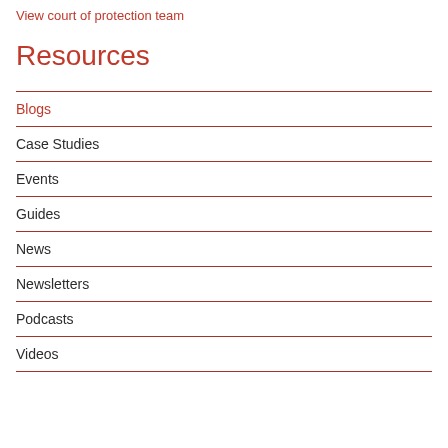View court of protection team
Resources
Blogs
Case Studies
Events
Guides
News
Newsletters
Podcasts
Videos